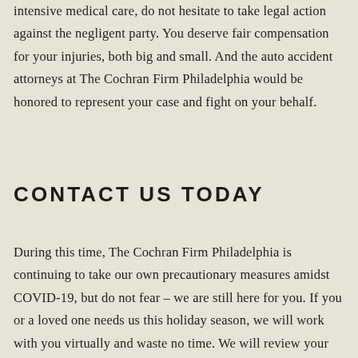intensive medical care, do not hesitate to take legal action against the negligent party. You deserve fair compensation for your injuries, both big and small. And the auto accident attorneys at The Cochran Firm Philadelphia would be honored to represent your case and fight on your behalf.
CONTACT US TODAY
During this time, The Cochran Firm Philadelphia is continuing to take our own precautionary measures amidst COVID-19, but do not fear – we are still here for you. If you or a loved one needs us this holiday season, we will work with you virtually and waste no time. We will review your case and proceed if